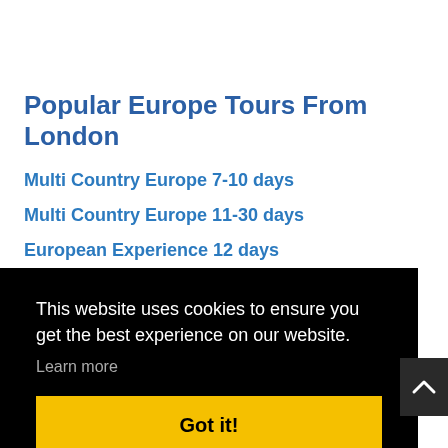Popular Europe Tours From London
Multi Country Europe 7-10 days
Multi Country Europe 11-30 days
European Experience 12 days
European Highlights 7 days
This website uses cookies to ensure you get the best experience on our website.
Learn more
Got it!
Europe Escape 12 days